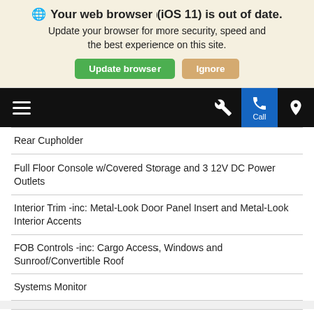🌐 Your web browser (iOS 11) is out of date. Update your browser for more security, speed and the best experience on this site. [Update browser] [Ignore]
[Figure (screenshot): Navigation bar with hamburger menu, wrench icon, phone/call icon (blue highlight), and location pin icon on black background]
| Rear Cupholder |
| Full Floor Console w/Covered Storage and 3 12V DC Power Outlets |
| Interior Trim -inc: Metal-Look Door Panel Insert and Metal-Look Interior Accents |
| FOB Controls -inc: Cargo Access, Windows and Sunroof/Convertible Roof |
| Systems Monitor |
| Cruise Control w/Steering Wheel Controls |
| Dual Zone Front Automatic Air Conditioning |
| Compass |